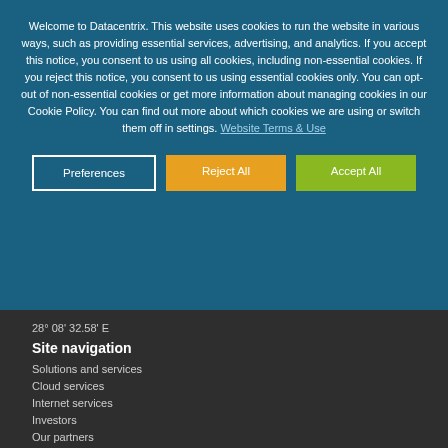Welcome to Datacentrix. This website uses cookies to run the website in various ways, such as providing essential services, advertising, and analytics. If you accept this notice, you consent to us using all cookies, including non-essential cookies. If you reject this notice, you consent to us using essential cookies only. You can opt-out of non-essential cookies or get more information about managing cookies in our Cookie Policy. You can find out more about which cookies we are using or switch them off in settings. Website Terms & Use
Preferences
Reject All
Accept All
28° 08' 32.58' E
Site navigation
Solutions and services
Cloud services
Internet services
Investors
Our partners
About us